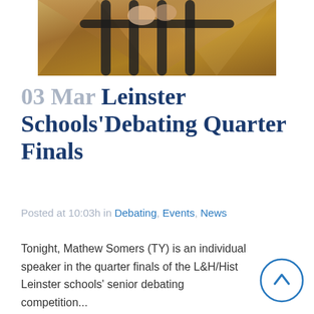[Figure (photo): Photograph of wooden chairs/furniture with metal railings, close-up view]
03 Mar Leinster Schools'Debating Quarter Finals
Posted at 10:03h in Debating, Events, News
Tonight, Mathew Somers (TY) is an individual speaker in the quarter finals of the L&H/Hist Leinster schools' senior debating competition...